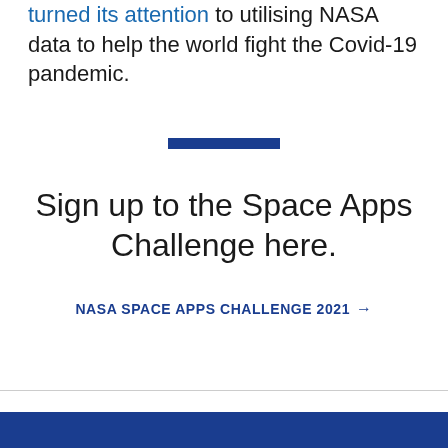turned its attention to utilising NASA data to help the world fight the Covid-19 pandemic.
[Figure (other): Blue horizontal decorative divider bar]
Sign up to the Space Apps Challenge here.
NASA SPACE APPS CHALLENGE 2021 →